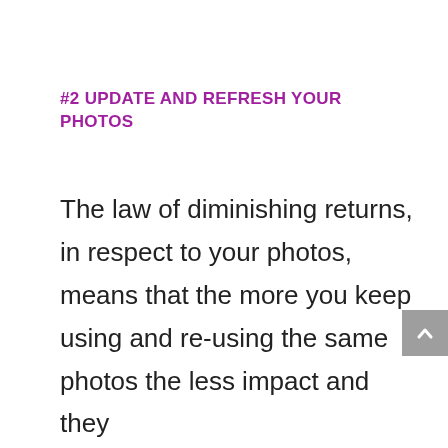#2 UPDATE AND REFRESH YOUR PHOTOS
The law of diminishing returns, in respect to your photos, means that the more you keep using and re-using the same photos the less impact and they will have and therefore decrease the effectiveness of your promotions. By offering